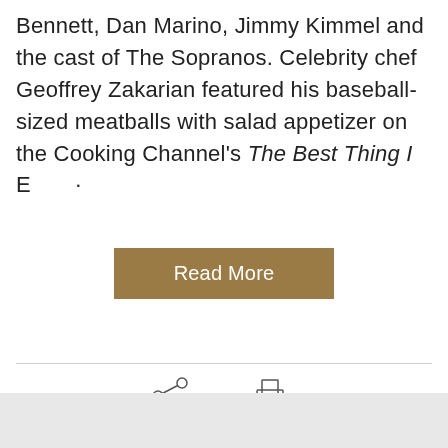Bennett, Dan Marino, Jimmy Kimmel and the cast of The Sopranos. Celebrity chef Geoffrey Zakarian featured his baseball-sized meatballs with salad appetizer on the Cooking Channel's The Best Thing I [faded text continues]
[Figure (other): A tan/brown 'Read More' button centered on the page]
[Figure (other): Social share icon (three circles connected by lines) labeled 'Share', and a printer icon labeled 'Print page']